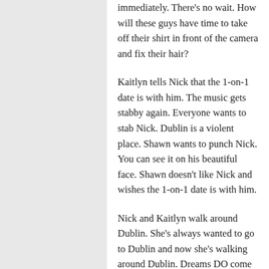immediately. There's no wait. How will these guys have time to take off their shirt in front of the camera and fix their hair?
Kaitlyn tells Nick that the 1-on-1 date is with him. The music gets stabby again. Everyone wants to stab Nick. Dublin is a violent place. Shawn wants to punch Nick. You can see it on his beautiful face. Shawn doesn't like Nick and wishes the 1-on-1 date is with him.
Nick and Kaitlyn walk around Dublin. She's always wanted to go to Dublin and now she's walking around Dublin. Dreams DO come true. Don't give up